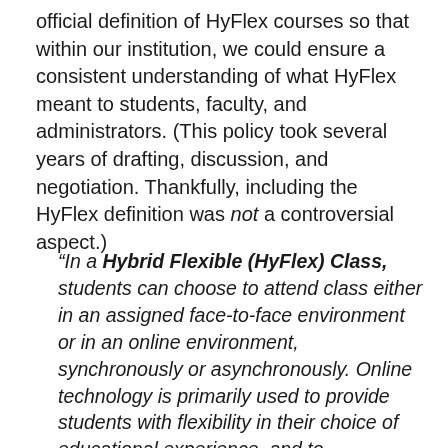official definition of HyFlex courses so that within our institution, we could ensure a consistent understanding of what HyFlex meant to students, faculty, and administrators. (This policy took several years of drafting, discussion, and negotiation. Thankfully, including the HyFlex definition was not a controversial aspect.)
“In a Hybrid Flexible (HyFlex) Class, students can choose to attend class either in an assigned face-to-face environment or in an online environment, synchronously or asynchronously. Online technology is primarily used to provide students with flexibility in their choice of educational experience, and to communicate with the